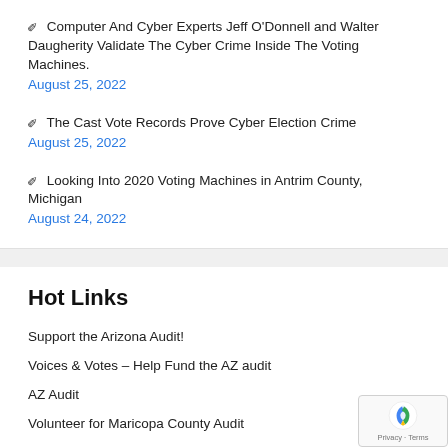📌 Computer And Cyber Experts Jeff O'Donnell and Walter Daugherity Validate The Cyber Crime Inside The Voting Machines.
August 25, 2022
📌 The Cast Vote Records Prove Cyber Election Crime
August 25, 2022
📌 Looking Into 2020 Voting Machines in Antrim County, Michigan
August 24, 2022
Hot Links
Support the Arizona Audit!
Voices & Votes – Help Fund the AZ audit
AZ Audit
Volunteer for Maricopa County Audit